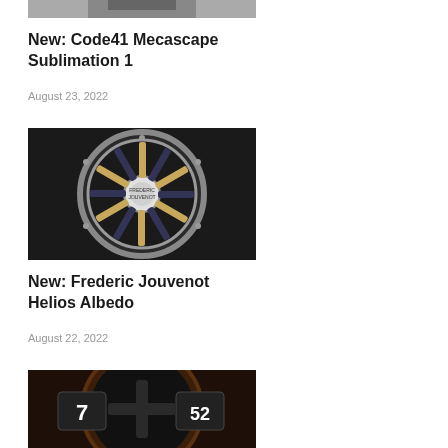[Figure (photo): Partial photo cropped at top, appears to be a person]
New: Code41 Mecascape Sublimation 1
August 23, 2022
[Figure (photo): Close-up photo of a Frederic Jouvenot Helios Albedo watch face showing a sunburst/spoke design with gold and dark elements]
New: Frederic Jouvenot Helios Albedo
August 22, 2022
[Figure (photo): Close-up photo of a luxury watch face with dark dial, showing numerals 7 and 52, subdials and complications]